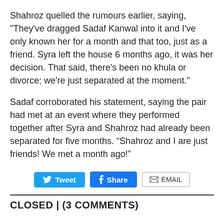Shahroz quelled the rumours earlier, saying, "They've dragged Sadaf Kanwal into it and I've only known her for a month and that too, just as a friend. Syra left the house 6 months ago, it was her decision. That said, there's been no khula or divorce; we're just separated at the moment."
Sadaf corroborated his statement, saying the pair had met at an event where they performed together after Syra and Shahroz had already been separated for five months. “Shahroz and I are just friends! We met a month ago!”
[Figure (other): Social sharing buttons: Tweet (Twitter), Share (Facebook), EMAIL]
CLOSED | (3 COMMENTS)